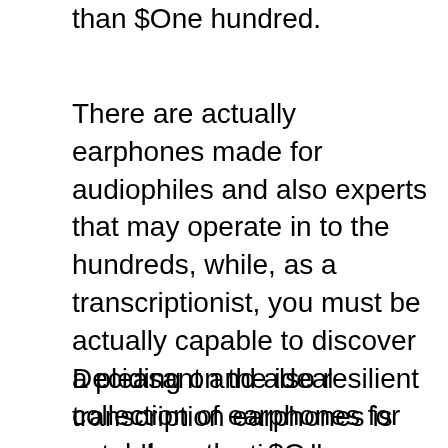than $One hundred.
There are actually earphones made for audiophiles and also experts that may operate in to the hundreds, while, as a transcriptionist, you must be actually capable to discover a pleasant and also resilient collection of earphones for much less than $One hundred. There are actually earphones that possess a noise-canceling attribute that numerous transcriptionists locate practical.
Deciding on the ideal transcription earphones is actually exceptionally necessary considering that as a transcriptionist you are going to likely be actually putting on as well as utilizing your